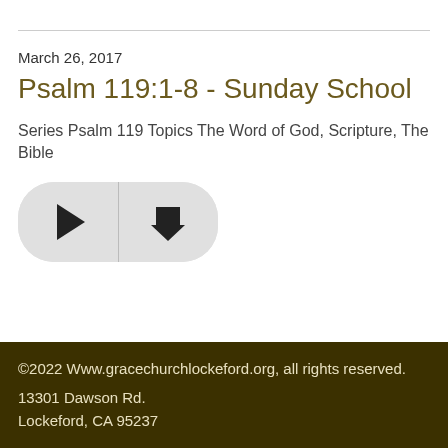March 26, 2017
Psalm 119:1-8 - Sunday School
Series Psalm 119 Topics The Word of God, Scripture, The Bible
[Figure (other): Media player button group with a play button (triangle icon) on the left and a download button (down arrow icon) on the right, both set in a rounded pill-shaped grey container]
©2022 Www.gracechurchlockeford.org, all rights reserved.
13301 Dawson Rd.
Lockeford, CA 95237